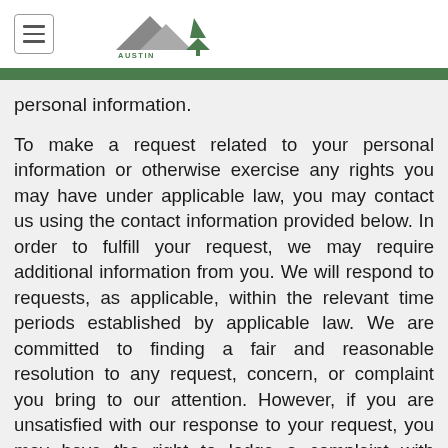[Figure (logo): Austin Funeral & Cremation Services logo with mountain and tree graphic]
personal information.
To make a request related to your personal information or otherwise exercise any rights you may have under applicable law, you may contact us using the contact information provided below. In order to fulfill your request, we may require additional information from you. We will respond to requests, as applicable, within the relevant time periods established by applicable law. We are committed to finding a fair and reasonable resolution to any request, concern, or complaint you bring to our attention. However, if you are unsatisfied with our response to your request, you may have the right to lodge a complaint with applicable governmental authorities, subject to local law.